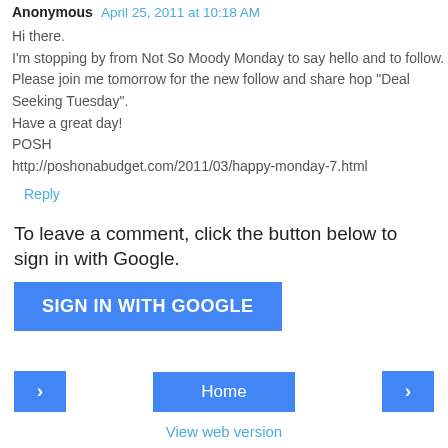Anonymous  April 25, 2011 at 10:18 AM
Hi there.
I'm stopping by from Not So Moody Monday to say hello and to follow.
Please join me tomorrow for the new follow and share hop "Deal Seeking Tuesday".
Have a great day!
POSH
http://poshonabudget.com/2011/03/happy-monday-7.html
Reply
To leave a comment, click the button below to sign in with Google.
SIGN IN WITH GOOGLE
Home
View web version